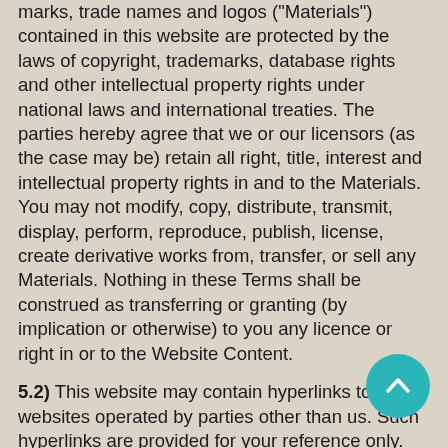marks, trade names and logos ("Materials") contained in this website are protected by the laws of copyright, trademarks, database rights and other intellectual property rights under national laws and international treaties. The parties hereby agree that we or our licensors (as the case may be) retain all right, title, interest and intellectual property rights in and to the Materials. You may not modify, copy, distribute, transmit, display, perform, reproduce, publish, license, create derivative works from, transfer, or sell any Materials. Nothing in these Terms shall be construed as transferring or granting (by implication or otherwise) to you any licence or right in or to the Website Content.
5.2) This website may contain hyperlinks to websites operated by parties other than us. Such hyperlinks are provided for your reference only. We does not control such websites and are not responsible for their contents. The inclusion of hyperlinks on this website to such other websites does not imply any endorsement of the material on such websites or any association with their operators.
5.3) Our website is made available for personal use